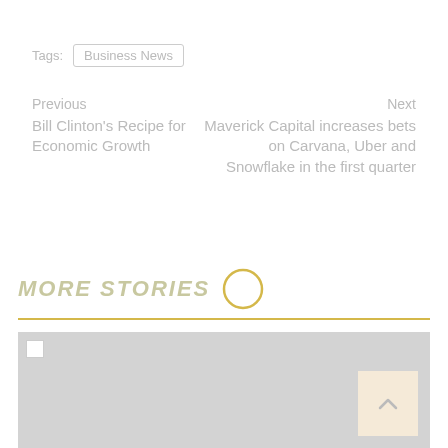Tags: Business News
Previous
Bill Clinton's Recipe for Economic Growth
Next
Maverick Capital increases bets on Carvana, Uber and Snowflake in the first quarter
MORE STORIES
[Figure (photo): Gray placeholder image for a story, with a broken image icon in the top-left and a back-to-top arrow button in the bottom-right]